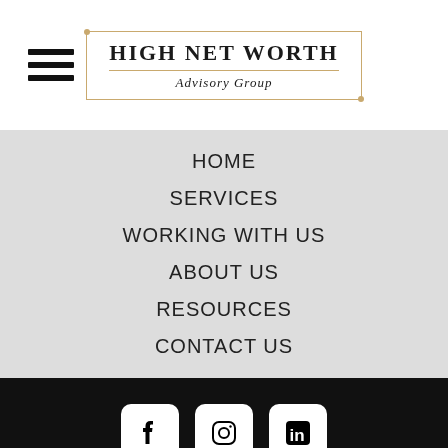[Figure (logo): High Net Worth Advisory Group logo with decorative border and gold accent lines]
HOME
SERVICES
WORKING WITH US
ABOUT US
RESOURCES
CONTACT US
[Figure (illustration): Social media icons: Facebook, Instagram, LinkedIn on black footer background]
© 2022 High Net Worth Advisory Group. All Rights Reserved.
Privacy Policy   Sitemap   ADV   Form CRS
[Figure (logo): LOCALiQ POWERED logo]